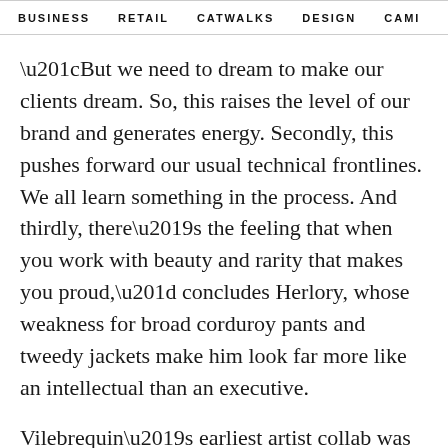BUSINESS   RETAIL   CATWALKS   DESIGN   CAMI   >
“But we need to dream to make our clients dream. So, this raises the level of our brand and generates energy. Secondly, this pushes forward our usual technical frontlines. We all learn something in the process. And thirdly, there’s the feeling that when you work with beauty and rarity that makes you proud,” concludes Herlory, whose weakness for broad corduroy pants and tweedy jackets make him look far more like an intellectual than an executive.
Vilebrequin’s earliest artist collab was with Massimo Vitali, the Italian photographer famed for his large-format photos of beach scenes.